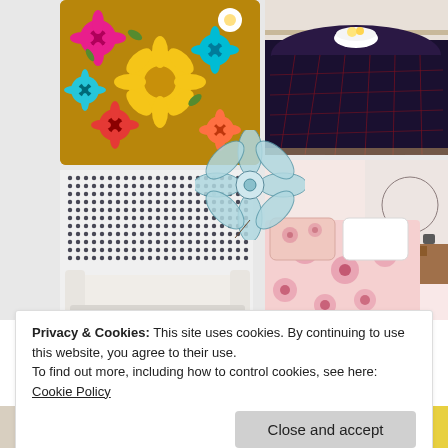[Figure (photo): Collage of fabric and home textile product photos: top-left shows a colorful floral throw pillow with yellow, pink, red, teal flowers on olive background; top-right shows a dark plaid tablecloth draped over a round table with white bowl; bottom-left shows a white and navy blue dot/gingham pattern fabric with white sofa; bottom-right shows a pink floral medallion bedding set. A large teal line-drawn flower illustration overlays the center junction of the images.]
Privacy & Cookies: This site uses cookies. By continuing to use this website, you agree to their use.
To find out more, including how to control cookies, see here: Cookie Policy
[Figure (photo): Bottom strip showing partial images of additional fabric/textile products]